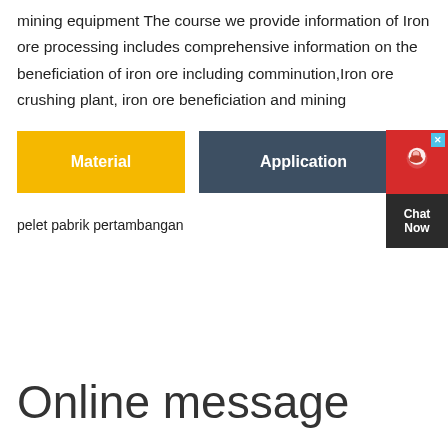mining equipment The course we provide information of Iron ore processing includes comprehensive information on the beneficiation of iron ore including comminution,Iron ore crushing plant, iron ore beneficiation and mining
[Figure (other): Two navigation buttons: yellow 'Material' button on left and dark blue 'Application' button on right, with a red chat widget on the far right]
pelet pabrik pertambangan
Online message